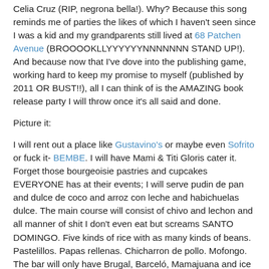Celia Cruz (RIP, negrona bella!). Why? Because this song reminds me of parties the likes of which I haven't seen since I was a kid and my grandparents still lived at 68 Patchen Avenue (BROOOOKLLYYYYYYNNNNNNN STAND UP!). And because now that I've dove into the publishing game, working hard to keep my promise to myself (published by 2011 OR BUST!!), all I can think of is the AMAZING book release party I will throw once it's all said and done.
Picture it:
I will rent out a place like Gustavino's or maybe even Sofrito or fuck it- BEMBE. I will have Mami & Titi Gloris cater it. Forget those bourgeoisie pastries and cupcakes EVERYONE has at their events; I will serve pudin de pan and dulce de coco and arroz con leche and habichuelas dulce. The main course will consist of chivo and lechon and all manner of shit I don't even eat but screams SANTO DOMINGO. Five kinds of rice with as many kinds of beans. Pastelillos. Papas rellenas. Chicharron de pollo. Mofongo. The bar will only have Brugal, Barceló, Mamajuana and ice cold Presidente. If you don't like alcohol we'll gladly make